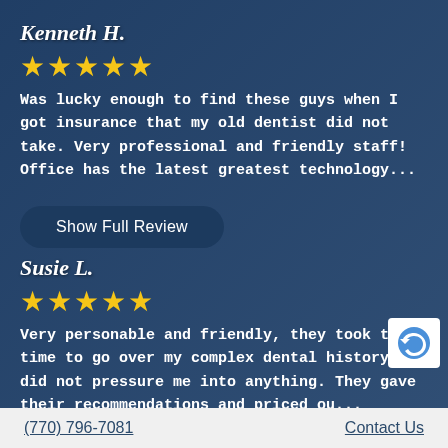Kenneth H.
[Figure (infographic): 5 yellow star rating icons]
Was lucky enough to find these guys when I got insurance that my old dentist did not take. Very professional and friendly staff! Office has the latest greatest technology...
Show Full Review
Susie L.
[Figure (infographic): 5 yellow star rating icons]
Very personable and friendly, they took the time to go over my complex dental history and did not pressure me into anything. They gave their recommendations and priced ou...
(770) 796-7081    Contact Us